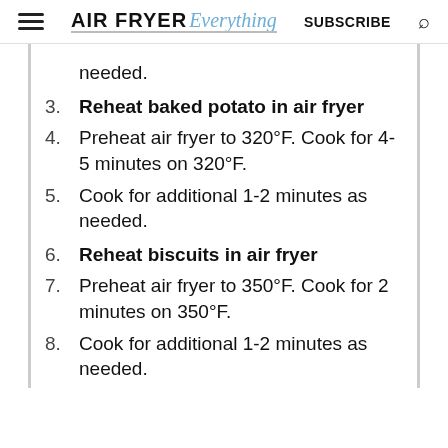AIR FRYER Everything | SUBSCRIBE
needed.
3. Reheat baked potato in air fryer
4. Preheat air fryer to 320°F. Cook for 4-5 minutes on 320°F.
5. Cook for additional 1-2 minutes as needed.
6. Reheat biscuits in air fryer
7. Preheat air fryer to 350°F. Cook for 2 minutes on 350°F.
8. Cook for additional 1-2 minutes as needed.